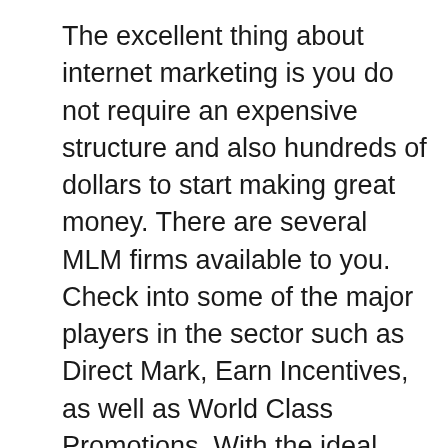The excellent thing about internet marketing is you do not require an expensive structure and also hundreds of dollars to start making great money. There are several MLM firms available to you. Check into some of the major players in the sector such as Direct Mark, Earn Incentives, as well as World Class Promotions. With the ideal training and the ideal program you can be effective.
Web marketing is the most popular brand-new business opportunity. It is largely online, so the knowing contour is much easier. However, it does take a lot of effort to find out exactly how to establish your own blog, site, and MySpace or Facebook page. Nevertheless, when you have those things in